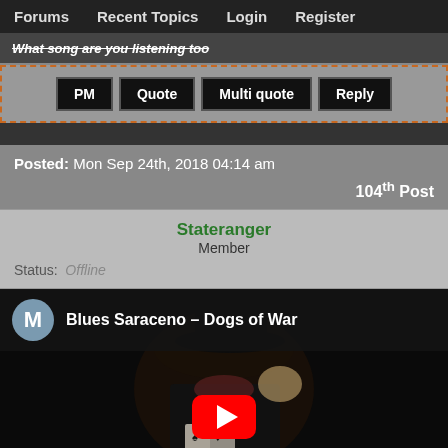Forums   Recent Topics   Login   Register
What song are you listening too
PM   Quote   Multi quote   Reply
Posted: Mon Sep 24th, 2018 04:14 am
104th Post
Stateranger
Member
Status: Offline
[Figure (screenshot): YouTube video embed showing 'Blues Saraceno – Dogs of War' with a dark thumbnail of a man in a cowboy hat, a circular M avatar, and a red YouTube play button at the bottom center.]